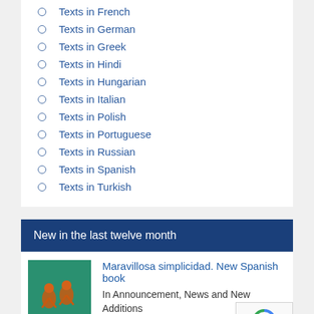Texts in French
Texts in German
Texts in Greek
Texts in Hindi
Texts in Hungarian
Texts in Italian
Texts in Polish
Texts in Portuguese
Texts in Russian
Texts in Spanish
Texts in Turkish
New in the last twelve month
[Figure (illustration): Green book cover with illustrated dancing figures in orange and white dots, for Maravillosa simplicidad]
Maravillosa simplicidad. New Spanish book
In Announcement, News and New Additions
2022-08-27